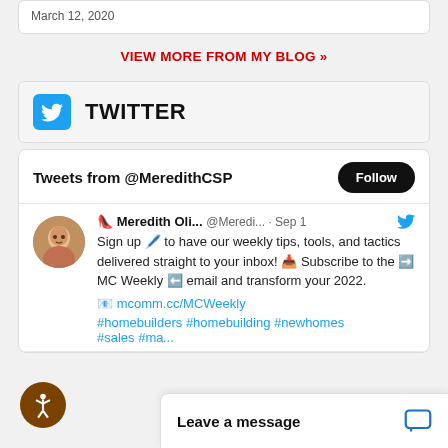March 12, 2020
VIEW MORE FROM MY BLOG »
TWITTER
Tweets from @MeredithCSP
🚨 Meredith Oli... @Meredi... · Sep 1 Sign up 🖊️ to have our weekly tips, tools, and tactics delivered straight to your inbox! 📥 Subscribe to the ➡️ MC Weekly ⬅️ email and transform your 2022. 📧 mcomm.cc/MCWeekly #homebuilders #homebuilding #newhomes #sales #ma...
Leave a message